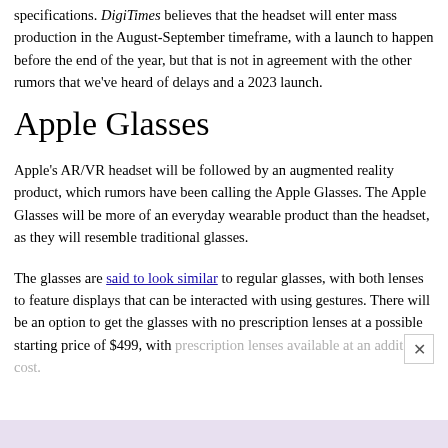specifications. DigiTimes believes that the headset will enter mass production in the August-September timeframe, with a launch to happen before the end of the year, but that is not in agreement with the other rumors that we've heard of delays and a 2023 launch.
Apple Glasses
Apple's AR/VR headset will be followed by an augmented reality product, which rumors have been calling the Apple Glasses. The Apple Glasses will be more of an everyday wearable product than the headset, as they will resemble traditional glasses.
The glasses are said to look similar to regular glasses, with both lenses to feature displays that can be interacted with using gestures. There will be an option to get the glasses with no prescription lenses at a possible starting price of $499, with prescription lenses available at an additional cost.